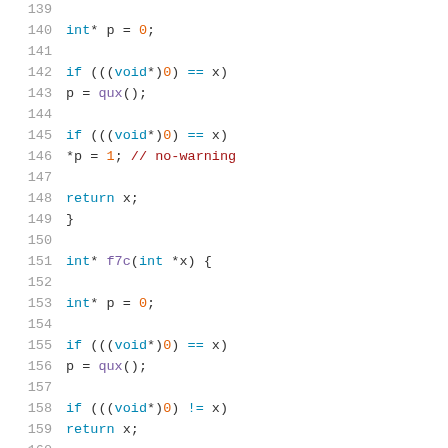[Figure (screenshot): Source code listing in C showing lines 139-160 with syntax highlighting. Line numbers in gray on the left, keywords in blue, identifiers in dark, numbers in orange, operators in blue, comments in red/dark red.]